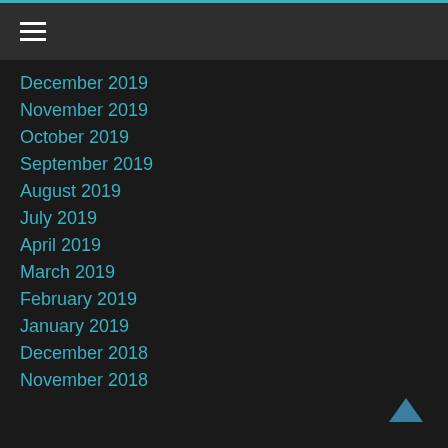Navigation menu header with hamburger icon
December 2019
November 2019
October 2019
September 2019
August 2019
July 2019
April 2019
March 2019
February 2019
January 2019
December 2018
November 2018